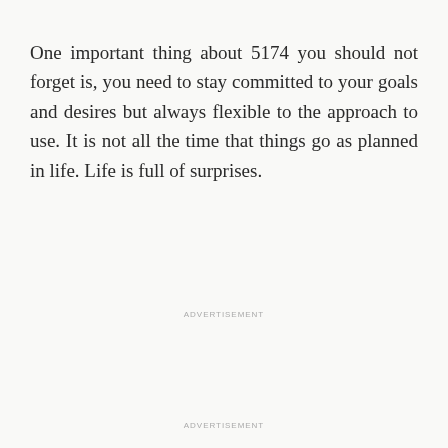One important thing about 5174 you should not forget is, you need to stay committed to your goals and desires but always flexible to the approach to use. It is not all the time that things go as planned in life. Life is full of surprises.
ADVERTISEMENT
ADVERTISEMENT